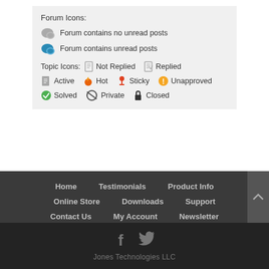Forum Icons:
Forum contains no unread posts
Forum contains unread posts
Topic Icons: Not Replied  Replied  Active  Hot  Sticky  Unapproved  Solved  Private  Closed
Home    Testimonials    Product Info
Online Store    Downloads    Support
Contact Us    My Account    Newsletter
[Figure (other): Facebook and Twitter social icons]
Jones Technologies LLC